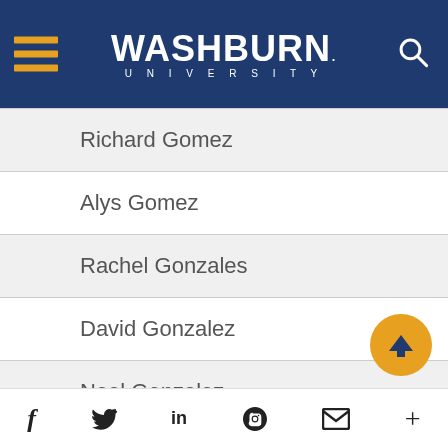Washburn University
Richard Gomez
Alys Gomez
Rachel Gonzales
David Gonzalez
Noel Gonzalez
Jonathan Goodman
Facebook Twitter LinkedIn Pinterest Email More